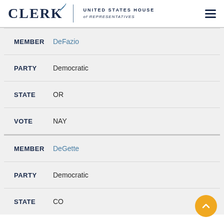CLERK United States House of Representatives
MEMBER DeFazio
PARTY Democratic
STATE OR
VOTE NAY
MEMBER DeGette
PARTY Democratic
STATE CO